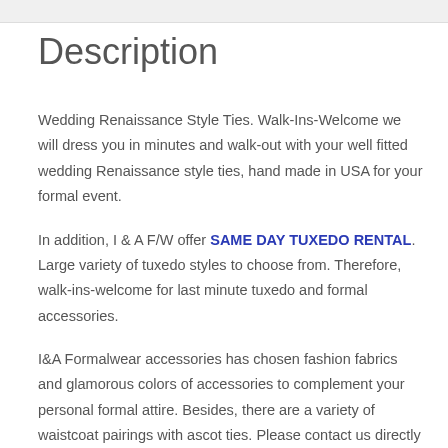Description
Wedding Renaissance Style Ties. Walk-Ins-Welcome we will dress you in minutes and walk-out with your well fitted wedding Renaissance style ties, hand made in USA for your formal event.
In addition, I & A F/W offer SAME DAY TUXEDO RENTAL. Large variety of tuxedo styles to choose from. Therefore, walk-ins-welcome for last minute tuxedo and formal accessories.
I&A Formalwear accessories has chosen fashion fabrics and glamorous colors of accessories to complement your personal formal attire. Besides, there are a variety of waistcoat pairings with ascot ties. Please contact us directly and we can help you to coordinate your appropriate accessory color and tuxedo style. In conclusion, I&A Formalwear accessories has been in the formal